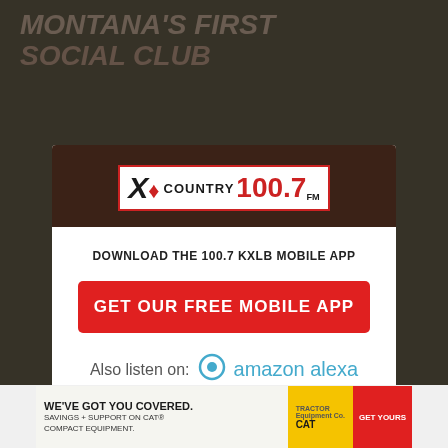[Figure (screenshot): Background webpage showing 'Montana's First Social Club' text on a teal/dark background]
[Figure (screenshot): Modal dialog popup with XO Country 100.7 FM radio station logo, prompting user to download mobile app or listen on Amazon Alexa]
DOWNLOAD THE 100.7 KXLB MOBILE APP
GET OUR FREE MOBILE APP
Also listen on:  amazon alexa
[Figure (infographic): Bottom advertisement banner: 'WE'VE GOT YOU COVERED. SAVINGS + SUPPORT ON CAT COMPACT EQUIPMENT. GET YOURS' with construction workers and CAT equipment imagery]